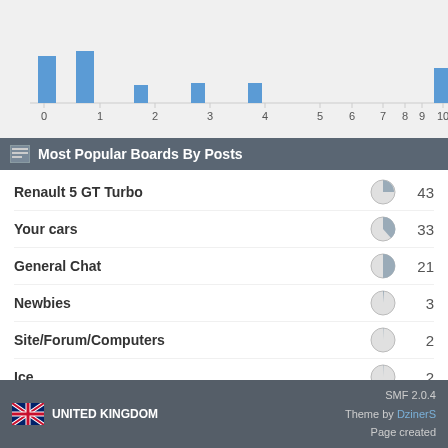[Figure (histogram): Posts histogram]
Most Popular Boards By Posts
| Board | Pie | Count |
| --- | --- | --- |
| Renault 5 GT Turbo |  | 43 |
| Your cars |  | 33 |
| General Chat |  | 21 |
| Newbies |  | 3 |
| Site/Forum/Computers |  | 2 |
| Ice |  | 2 |
UNITED KINGDOM | SMF 2.0.4 | Theme by DzinerS | Page created